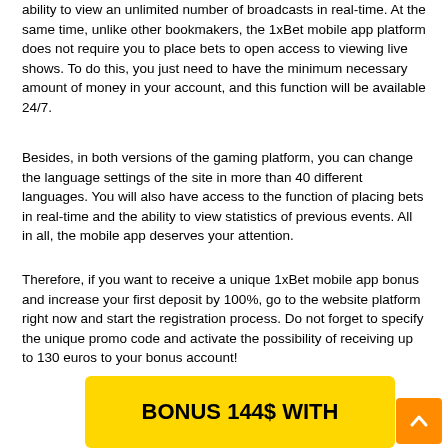ability to view an unlimited number of broadcasts in real-time. At the same time, unlike other bookmakers, the 1xBet mobile app platform does not require you to place bets to open access to viewing live shows. To do this, you just need to have the minimum necessary amount of money in your account, and this function will be available 24/7.
Besides, in both versions of the gaming platform, you can change the language settings of the site in more than 40 different languages. You will also have access to the function of placing bets in real-time and the ability to view statistics of previous events. All in all, the mobile app deserves your attention.
Therefore, if you want to receive a unique 1xBet mobile app bonus and increase your first deposit by 100%, go to the website platform right now and start the registration process. Do not forget to specify the unique promo code and activate the possibility of receiving up to 130 euros to your bonus account!
[Figure (other): Orange scroll-to-top button with upward chevron arrow]
BONUS 144$ WITH